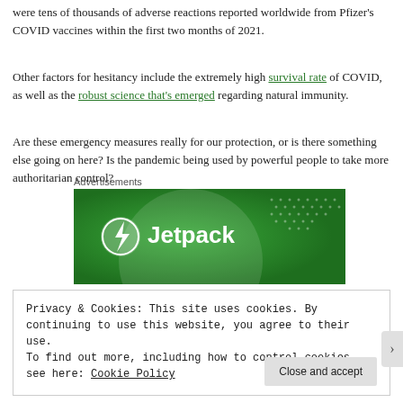were tens of thousands of adverse reactions reported worldwide from Pfizer's COVID vaccines within the first two months of 2021.
Other factors for hesitancy include the extremely high survival rate of COVID, as well as the robust science that's emerged regarding natural immunity.
Are these emergency measures really for our protection, or is there something else going on here? Is the pandemic being used by powerful people to take more authoritarian control?
Advertisements
[Figure (logo): Jetpack advertisement banner with green background and Jetpack logo]
Privacy & Cookies: This site uses cookies. By continuing to use this website, you agree to their use.
To find out more, including how to control cookies, see here: Cookie Policy